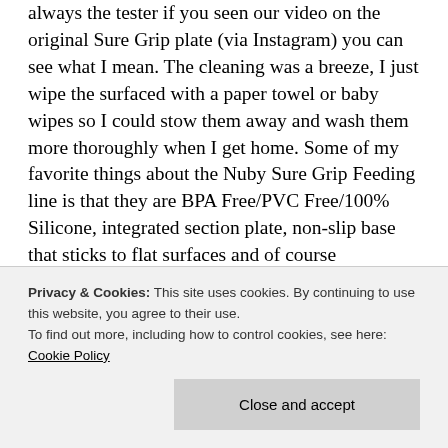always the tester if you seen our video on the original Sure Grip plate (via Instagram) you can see what I mean. The cleaning was a breeze, I just wipe the surfaced with a paper towel or baby wipes so I could stow them away and wash them more thoroughly when I get home. Some of my favorite things about the Nuby Sure Grip Feeding line is that they are BPA Free/PVC Free/100% Silicone, integrated section plate, non-slip base that sticks to flat surfaces and of course dishwasher safe (although I will honestly tell you that I feel all these products have worked best for us after hand-washing, but this maybe due to our hand water issues with our dish-washer).
Privacy & Cookies: This site uses cookies. By continuing to use this website, you agree to their use. To find out more, including how to control cookies, see here: Cookie Policy
I've many Windows choice of other Nuby Sure Grip